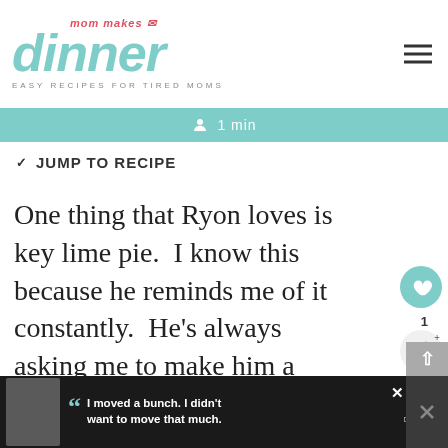[Figure (logo): Mom Makes Dinner logo with teal cursive 'dinner' text and red 'mom makes' script above, tagline 'EASY RECIPES FOR TIRED MOMS']
1 min
JUMP TO RECIPE
One thing that Ryon loves is key lime pie.  I know this because he reminds me of it constantly.  He's always asking me to make him a key lime pie.  “When are you going to make another key lime pie, honey?”  “It
[Figure (other): What's Next widget showing 'Key lime slab pie' thumbnail]
[Figure (other): Advertisement banner: Dave Thomas Foundation for Adoption - 'I moved a bunch. I didn't want to move that much.']